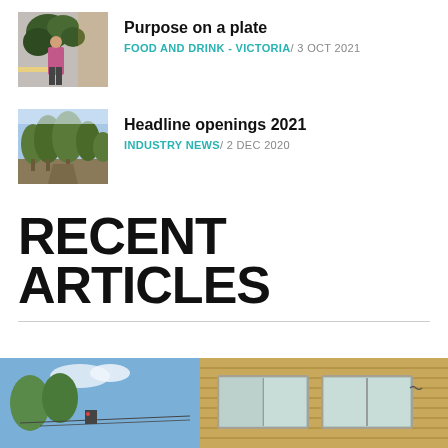[Figure (photo): A person in a pink shirt standing near a plant-covered storefront or cafe entrance]
Purpose on a plate
FOOD AND DRINK - VICTORIA/ 3 OCT 2021
[Figure (photo): Outdoor landscape with trees and a path or road in a wooded area]
Headline openings 2021
INDUSTRY NEWS/ 2 DEC 2020
RECENT ARTICLES
[Figure (photo): Exterior of a modern building with timber cladding and large windows, street with power lines visible]